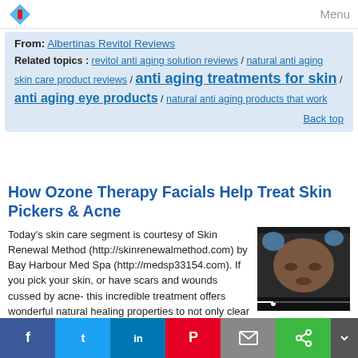Menu
From: Albertinas Revitol Reviews
Related topics : revitol anti aging solution reviews / natural anti aging skin care product reviews / anti aging treatments for skin / anti aging eye products / natural anti aging products that work
Back top
How Ozone Therapy Facials Help Treat Skin Pickers & Acne
Today's skin care segment is courtesy of Skin Renewal Method (http://skinrenewalmethod.com) by Bay Harbour Med Spa (http://medsp33154.com). If you pick your skin, or have scars and wounds cussed by acne- this incredible treatment offers wonderful natural healing properties to not only clear your skin, but to soothe it! If you find this video to be helpful please Like, Share and Subscribe to my channel. Feel free to email me your skincare related questions to
[Figure (photo): Video thumbnail showing a person receiving a facial treatment, with a black progress bar at the bottom]